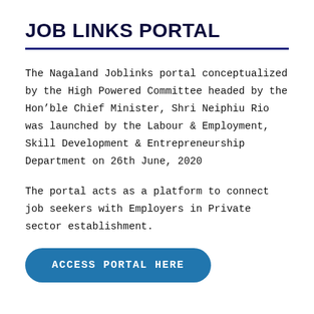JOB LINKS PORTAL
The Nagaland Joblinks portal conceptualized by the High Powered Committee headed by the Hon’ble Chief Minister, Shri Neiphiu Rio was launched by the Labour & Employment, Skill Development & Entrepreneurship Department on 26th June, 2020
The portal acts as a platform to connect job seekers with Employers in Private sector establishment.
ACCESS PORTAL HERE